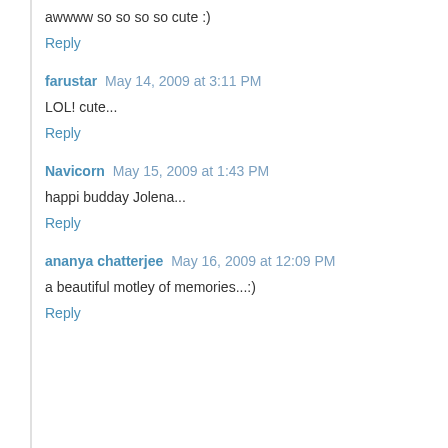awwww so so so so cute :)
Reply
farustar  May 14, 2009 at 3:11 PM
LOL! cute...
Reply
Navicorn  May 15, 2009 at 1:43 PM
happi budday Jolena...
Reply
ananya chatterjee  May 16, 2009 at 12:09 PM
a beautiful motley of memories...:)
Reply